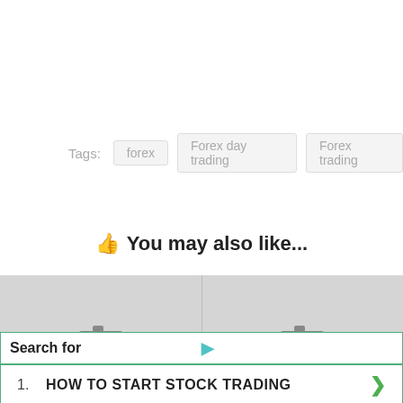Tags:  forex  Forex day trading  Forex trading
👍 You may also like...
[Figure (photo): Two grey placeholder image thumbnails side by side with camera icons]
Search for
1. HOW TO START STOCK TRADING
2. ONLINE VIDEO ADVERTISING
Yahoo! Search | Sponsored